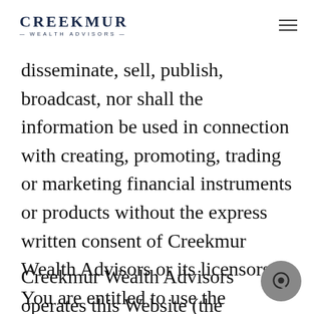Creekmur Wealth Advisors
disseminate, sell, publish, broadcast, nor shall the information be used in connection with creating, promoting, trading or marketing financial instruments or products without the express written consent of Creekmur Wealth Advisors or its licensors. You are entitled to use the information it contains for your private, non-commercial use only.
Creekmur Wealth Advisors operates this Website (the “Website”) to